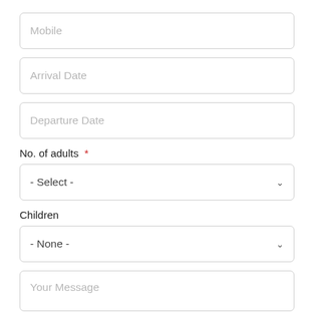Mobile
Arrival Date
Departure Date
No. of adults *
- Select -
Children
- None -
Your Message